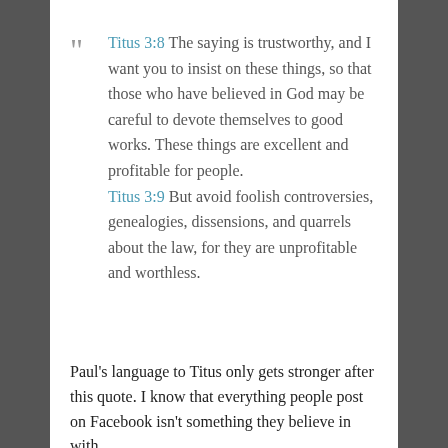Titus 3:8 The saying is trustworthy, and I want you to insist on these things, so that those who have believed in God may be careful to devote themselves to good works. These things are excellent and profitable for people. Titus 3:9 But avoid foolish controversies, genealogies, dissensions, and quarrels about the law, for they are unprofitable and worthless.
Paul's language to Titus only gets stronger after this quote. I know that everything people post on Facebook isn't something they believe in with